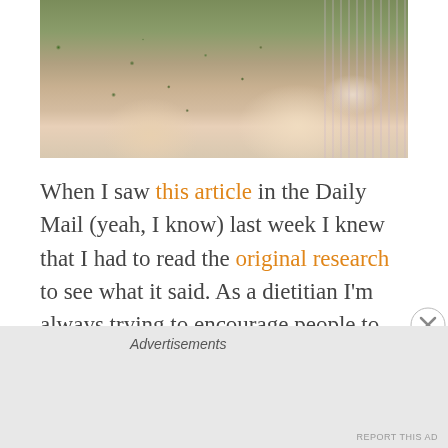[Figure (photo): Close-up photo of a baby's hands holding food with green herbs/vegetables scattered on skin, wearing a striped pink/white outfit]
When I saw this article in the Daily Mail (yeah, I know) last week I knew that I had to read the original research to see what it said. As a dietitian I'm always trying to encourage people to cook their own meals. When I talk to mums about introducing their babies to solid foods I suggest that they see it as an opportunity to enjoy balanced meals as a family. Just what I need is headlines and articles proclaiming that pre-made store bought baby food is healthier than what ever they might be preparing at home.
Advertisements